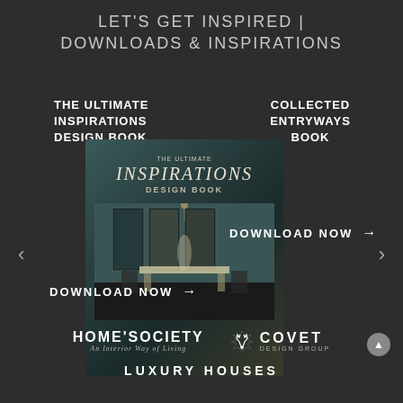LET'S GET INSPIRED | DOWNLOADS & INSPIRATIONS
THE ULTIMATE INSPIRATIONS DESIGN BOOK
COLLECTED ENTRYWAYS BOOK
[Figure (photo): Book cover of 'The Ultimate Inspirations Design Book' featuring an elegant interior dining room scene]
DOWNLOAD NOW →
DOWNLOAD NOW →
[Figure (logo): HOME'SOCIETY logo with tagline 'An Interior Way of Living']
[Figure (logo): COVET DESIGN GROUP logo with deer antler emblem]
LUXURY HOUSES